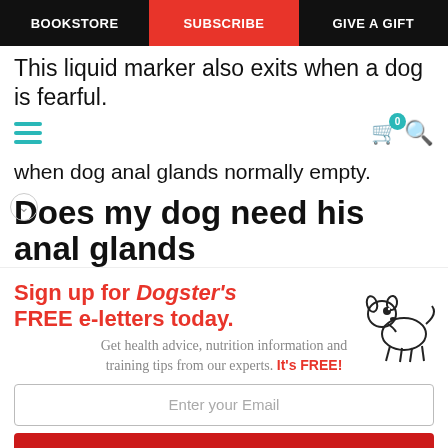BOOKSTORE | SUBSCRIBE | GIVE A GIFT
This liquid marker also exits when a dog is fearful.
when dog anal glands normally empty.
Does my dog need his anal glands
[Figure (illustration): Promotional banner: Sign up for Dogster's FREE e-letters today. Get health advice, nutrition information and training tips from our experts. It's FREE! With a cartoon dog illustration, email input field, and YES! SIGN ME UP button.]